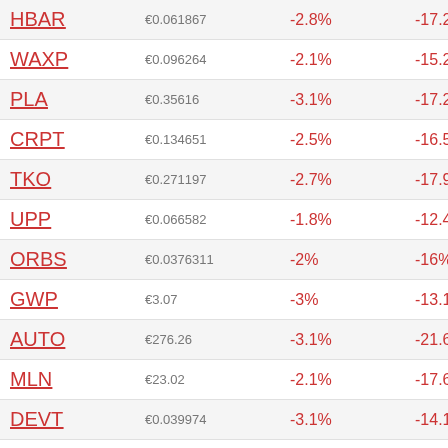| Ticker | Price | Change (1D) | Change (7D) |
| --- | --- | --- | --- |
| HBAR | €0.061867 | -2.8% | -17.2% |
| WAXP | €0.096264 | -2.1% | -15.2% |
| PLA | €0.35616 | -3.1% | -17.2% |
| CRPT | €0.134651 | -2.5% | -16.5% |
| TKO | €0.271197 | -2.7% | -17.9% |
| UPP | €0.066582 | -1.8% | -12.4% |
| ORBS | €0.0376311 | -2% | -16% |
| GWP | €3.07 | -3% | -13.1% |
| AUTO | €276.26 | -3.1% | -21.6% |
| MLN | €23.02 | -2.1% | -17.6% |
| DEVT | €0.039974 | -3.1% | -14.1% |
| MJT | €0.176471 | -2.2% | -20.5% |
| CRN | €1.43 | -3% | -22.4% |